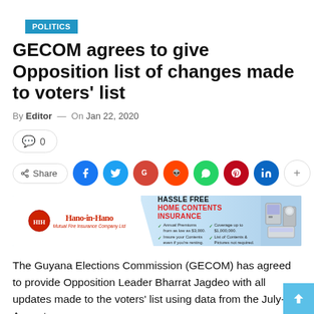POLITICS
GECOM agrees to give Opposition list of changes made to voters' list
By Editor — On Jan 22, 2020
[Figure (infographic): Comment button showing 0 comments, share button with social media icons: Facebook, Twitter, Google, Reddit, WhatsApp, Pinterest, LinkedIn, and a more button]
[Figure (infographic): Advertisement banner for Hand-in-Hand Mutual Fire Insurance Company Ltd promoting Hassle Free Home Contents Insurance with bullet points about annual premiums from as low as $3,000, insure your contents even if you're renting, coverage up to $1,000,000, list of contents & pictures not required]
The Guyana Elections Commission (GECOM) has agreed to provide Opposition Leader Bharrat Jagdeo with all updates made to the voters' list using data from the July-August house-to-house registration exercise.